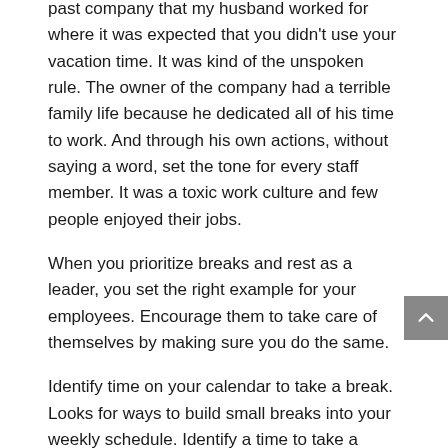past company that my husband worked for where it was expected that you didn't use your vacation time. It was kind of the unspoken rule. The owner of the company had a terrible family life because he dedicated all of his time to work. And through his own actions, without saying a word, set the tone for every staff member. It was a toxic work culture and few people enjoyed their jobs.
When you prioritize breaks and rest as a leader, you set the right example for your employees. Encourage them to take care of themselves by making sure you do the same.
Identify time on your calendar to take a break. Looks for ways to build small breaks into your weekly schedule. Identify a time to take a vacation or staycation. And if you need help with getting things in order in your business and overcoming your obstacles, reach out to a SPEARity business coach for help.